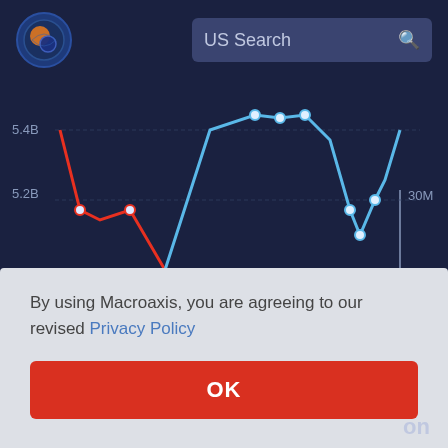[Figure (logo): Macroaxis globe logo with orange and blue colors]
US Search
[Figure (line-chart): Line chart showing financial data (Total Liabilities) from approximately 2012 to 2022. Blue line shows values between ~5.2B and ~5.4B with a dip around 2015 and another dip around 2019-2020. Red line shows earlier period data. Right y-axis shows 30M marker. X-axis shows 2015 and 2020 labels.]
Total Liabilities, total: 84.7B
By using Macroaxis, you are agreeing to our revised Privacy Policy
OK
on